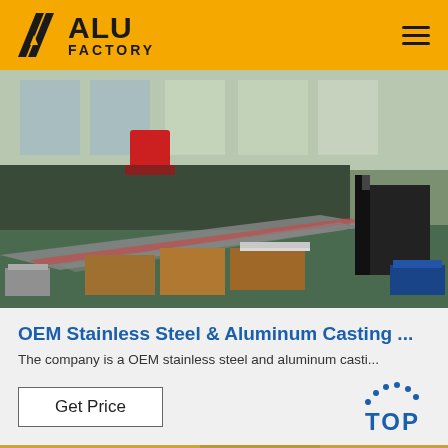ALU FACTORY
[Figure (photo): Industrial factory floor showing aluminum sheets and materials stacked on pallets, with a forklift in the background and manufacturing equipment visible]
OEM Stainless Steel & Aluminum Casting ...
The company is a OEM stainless steel and aluminum casti...
Get Price
[Figure (logo): TOP badge with dotted arc above the word TOP in blue]
[Figure (photo): Bottom strip showing partial image of factory or workers]